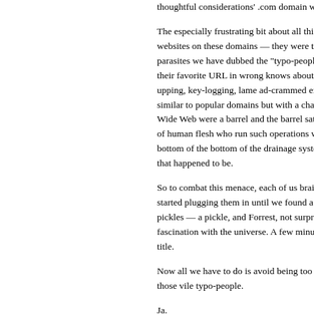thoughtful considerations' .com domain was also taken.
The especially frustrating bit about all this was that we didn't have actual websites on these domains — they were taken by a conglomerate of internet parasites we have dubbed the "typo-people." Anyone who's ever mistyped their favorite URL in wrong knows about these scourges: spam-botting, pop-upping, key-logging, lame ad-crammed excuses for websites that sit on URLs similar to popular domains but with a character or two wrong. If the World Wide Web were a barrel and the barrel sat in, the worthless, soul-less husks of human flesh who run such operations would be scraped off the dirt on the bottom of the bottom of the drainage system, whichever vessel of rotting filth that happened to be.
So to combat this menace, each of us brainstormed words we liked, and we started plugging them in until we found a domain available. Apparently I like pickles — a pickle, and Forrest, not surprisingly, has a somewhat unhealthy fascination with the universe. A few minutes later, we had a domain and a title.
Now all we have to do is avoid being too clever and draw the attention of those vile typo-people.
Ja.
Adam Would Be Proud